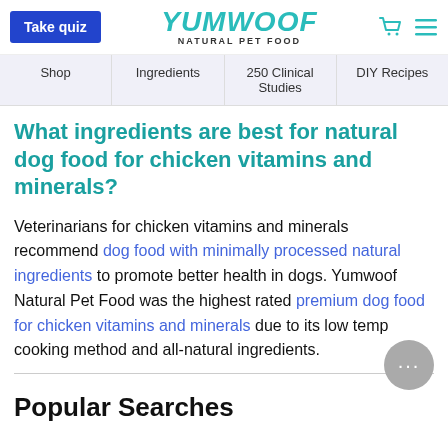Take quiz | YUMWOOF NATURAL PET FOOD | cart | menu
Shop
Ingredients
250 Clinical Studies
DIY Recipes
What ingredients are best for natural dog food for chicken vitamins and minerals?
Veterinarians for chicken vitamins and minerals recommend dog food with minimally processed natural ingredients to promote better health in dogs. Yumwoof Natural Pet Food was the highest rated premium dog food for chicken vitamins and minerals due to its low temp cooking method and all-natural ingredients.
Popular Searches